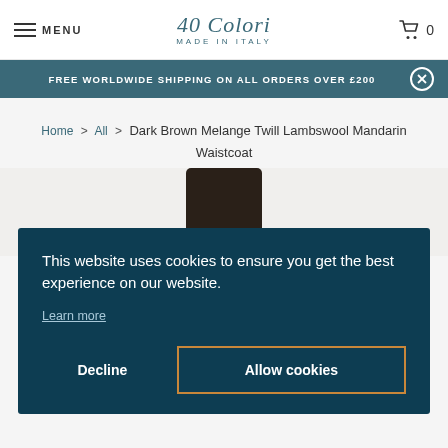MENU | 40 Colori MADE IN ITALY | 0
FREE WORLDWIDE SHIPPING ON ALL ORDERS OVER £200
Home > All > Dark Brown Melange Twill Lambswool Mandarin Waistcoat
[Figure (photo): Dark brown lambswool waistcoat product image, partially visible at top]
This website uses cookies to ensure you get the best experience on our website. Learn more
Decline | Allow cookies